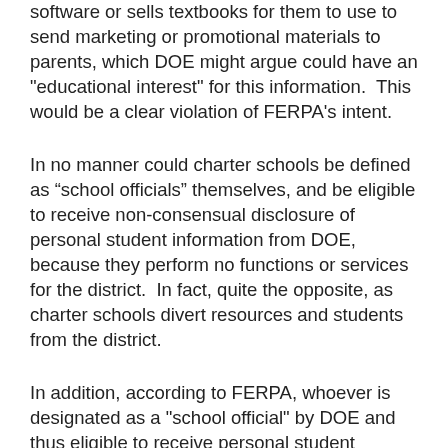software or sells textbooks for them to use to send marketing or promotional materials to parents, which DOE might argue could have an "educational interest" for this information.  This would be a clear violation of FERPA's intent.
In no manner could charter schools be defined as “school officials” themselves, and be eligible to receive non-consensual disclosure of personal student information from DOE, because they perform no functions or services for the district.  In fact, quite the opposite, as charter schools divert resources and students from the district.
In addition, according to FERPA, whoever is designated as a "school official" by DOE and thus eligible to receive personal student information without parental consent must be